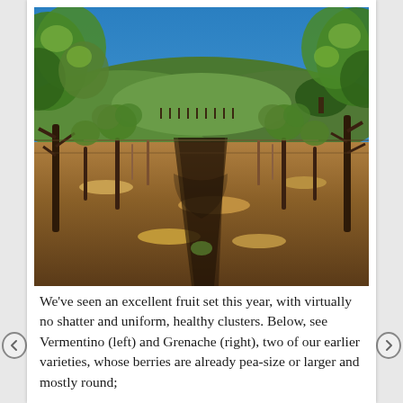[Figure (photo): Vineyard rows with grapevines on a dry hillside under a clear blue sky. Rolling green hills visible in the background. Foreground shows dry soil and grass between vine rows.]
We've seen an excellent fruit set this year, with virtually no shatter and uniform, healthy clusters. Below, see Vermentino (left) and Grenache (right), two of our earlier varieties, whose berries are already pea-size or larger and mostly round;